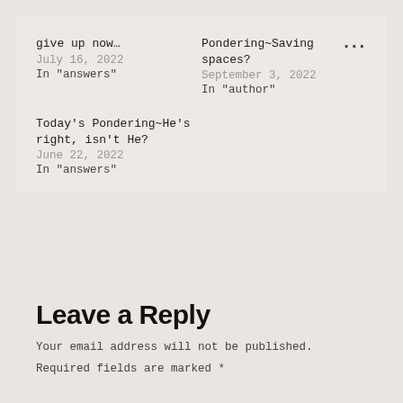give up now…
July 16, 2022
In "answers"
Pondering~Saving spaces?
September 3, 2022
In "author"
Today's Pondering~He's right, isn't He?
June 22, 2022
In "answers"
Leave a Reply
Your email address will not be published.
Required fields are marked *